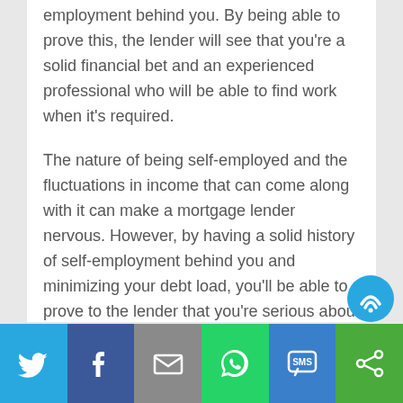employment behind you. By being able to prove this, the lender will see that you're a solid financial bet and an experienced professional who will be able to find work when it's required.
The nature of being self-employed and the fluctuations in income that can come along with it can make a mortgage lender nervous. However, by having a solid history of self-employment behind you and minimizing your debt load, you'll be able to prove to the lender that you're serious about home ownership. If you're currently perusing the market for a home, contact one of our mortgage professionals for more information.
[Figure (other): Social sharing bar with icons for Twitter, Facebook, Email, WhatsApp, SMS, and another sharing option]